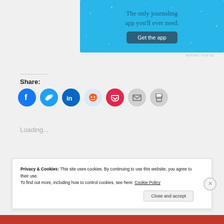[Figure (other): Blue journaling app advertisement banner with text 'The only journaling app you'll ever need.' and a dark blue 'Get the app' button. Decorative stars/sparkles on blue background.]
REPORT THIS AD
Share:
[Figure (other): Row of social sharing icon circles: Facebook (blue), Twitter (light blue), LinkedIn (dark blue), Reddit (light blue), Pocket (red), Email (gray), Print (gray)]
Loading...
Privacy & Cookies: This site uses cookies. By continuing to use this website, you agree to their use.
To find out more, including how to control cookies, see here: Cookie Policy
Close and accept